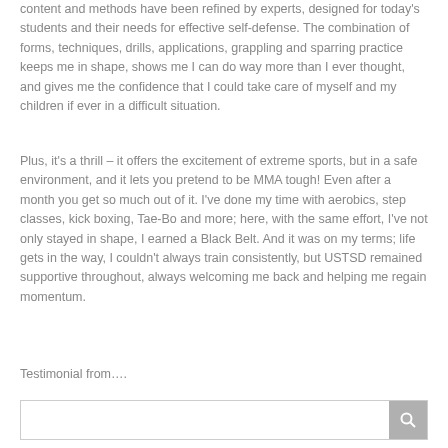content and methods have been refined by experts, designed for today's students and their needs for effective self-defense. The combination of forms, techniques, drills, applications, grappling and sparring practice keeps me in shape, shows me I can do way more than I ever thought, and gives me the confidence that I could take care of myself and my children if ever in a difficult situation.
Plus, it's a thrill – it offers the excitement of extreme sports, but in a safe environment, and it lets you pretend to be MMA tough! Even after a month you get so much out of it. I've done my time with aerobics, step classes, kick boxing, Tae-Bo and more; here, with the same effort, I've not only stayed in shape, I earned a Black Belt. And it was on my terms; life gets in the way, I couldn't always train consistently, but USTSD remained supportive throughout, always welcoming me back and helping me regain momentum.
Testimonial from….